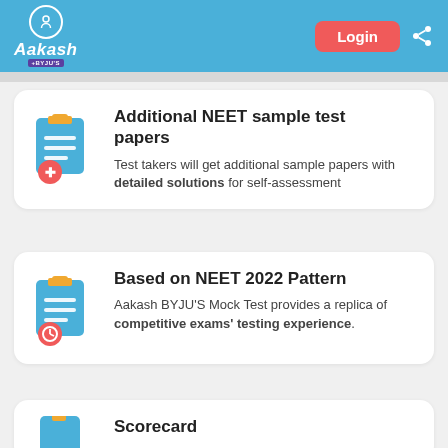Aakash + BYJU'S | Login | Share
Additional NEET sample test papers
Test takers will get additional sample papers with detailed solutions for self-assessment
Based on NEET 2022 Pattern
Aakash BYJU'S Mock Test provides a replica of competitive exams' testing experience.
Scorecard